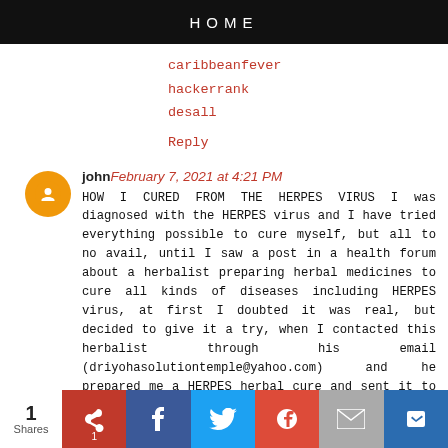HOME
caribbeanfever
hackerrank
desall
Reply
john  February 7, 2021 at 4:21 PM
HOW I CURED FROM THE HERPES VIRUS I was diagnosed with the HERPES virus and I have tried everything possible to cure myself, but all to no avail, until I saw a post in a health forum about a herbalist preparing herbal medicines to cure all kinds of diseases including HERPES virus, at first I doubted it was real, but decided to give it a try, when I contacted this herbalist through his email (driyohasolutiontemple@yahoo.com) and he prepared me a HERPES herbal cure and sent it to me through the service of UPS delivery company, when I received this herbal medicine, he gave me
1 Shares